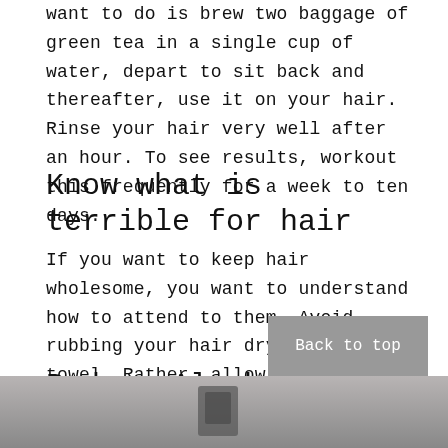want to do is brew two baggage of green tea in a single cup of water, depart to sit back and thereafter, use it on your hair. Rinse your hair very well after an hour. To see results, workout this frequently for a week to ten days.
Know what is terrible for hair
If you want to keep hair wholesome, you want to understand how to attend to them. Avoid rubbing your hair dry with a towel. Rather, allow hair dry naturally.
Reduce Alcoholic Beverages
[Figure (photo): Bottom portion of a photo showing beverages, partially visible at the bottom of the page.]